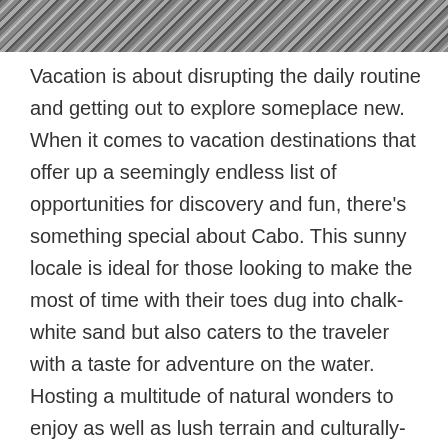[Figure (photo): Black and white photograph strip at top of page, showing rocky or sandy terrain texture.]
Vacation is about disrupting the daily routine and getting out to explore someplace new. When it comes to vacation destinations that offer up a seemingly endless list of opportunities for discovery and fun, there's something special about Cabo. This sunny locale is ideal for those looking to make the most of time with their toes dug into chalk-white sand but also caters to the traveler with a taste for adventure on the water. Hosting a multitude of natural wonders to enjoy as well as lush terrain and culturally-relevant stop, Cabo is a destination that caters to interests of all types. Its versatility makes it a wonderful destination for solo travel. If you're planning an independent journey this direction, the following are just a few options for making the most of every moment of your Los Cabos vacation.